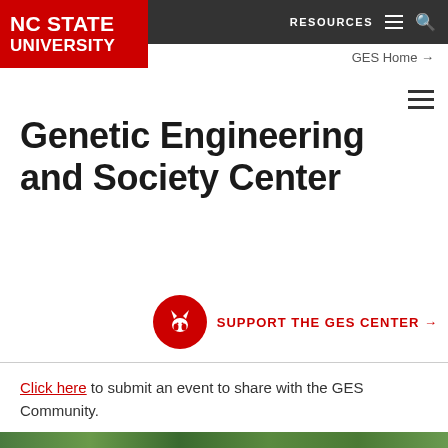NC STATE UNIVERSITY | RESOURCES | GES Home →
Genetic Engineering and Society Center
SUPPORT THE GES CENTER →
Click here to submit an event to share with the GES Community.
« All Events
[Figure (photo): Green foliage/plant image strip at bottom of page]